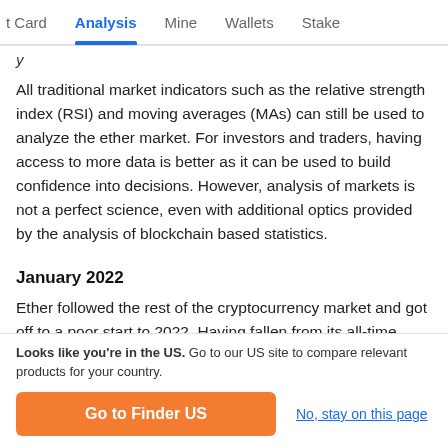t Card  Analysis  Mine  Wallets  Stake
y
All traditional market indicators such as the relative strength index (RSI) and moving averages (MAs) can still be used to analyze the ether market. For investors and traders, having access to more data is better as it can be used to build confidence into decisions. However, analysis of markets is not a perfect science, even with additional optics provided by the analysis of blockchain based statistics.
January 2022
Ether followed the rest of the cryptocurrency market and got off to a poor start to 2022. Having fallen from its all-time
Looks like you're in the US. Go to our US site to compare relevant products for your country.
Go to Finder US
No, stay on this page